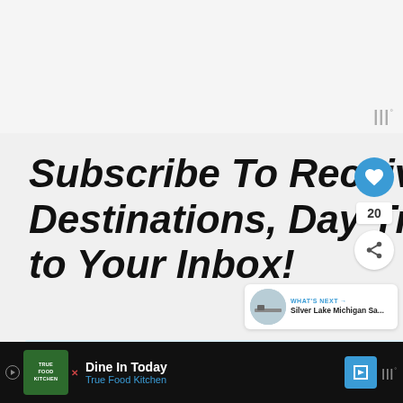[Figure (screenshot): Top grey area of a webpage with WW logo watermark in top right]
Subscribe To Receive Exciting Destinations, Day Trips and Fun Directly to Your Inbox!
[Figure (infographic): Heart like button (blue circle), share count 20, share icon button, What's Next arrow label with Silver Lake Michigan Sa... thumbnail]
[Figure (screenshot): Bottom light blue image strip partially visible]
[Figure (screenshot): Black ad bar at bottom: True Food Kitchen ad - Dine In Today, with navigation icon and WW logo]